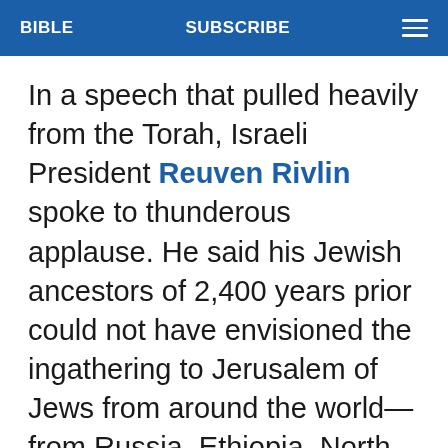BIBLE   SUBSCRIBE   ≡
In a speech that pulled heavily from the Torah, Israeli President Reuven Rivlin spoke to thunderous applause. He said his Jewish ancestors of 2,400 years prior could not have envisioned the ingathering to Jerusalem of Jews from around the world—from Russia, Ethiopia, North America, Morocco, to build farms and villages and make the desert bloom.